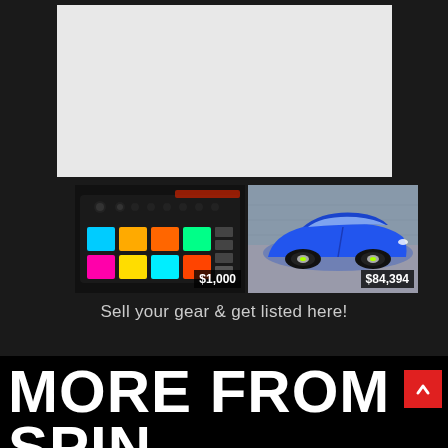[Figure (photo): Large light gray rectangle placeholder area at top]
[Figure (photo): Music production controller/pad device with colorful RGB pads, priced at $1,000]
[Figure (photo): Blue Porsche Panamera sports car, priced at $84,394]
Sell your gear & get listed here!
MORE FROM
SPIN